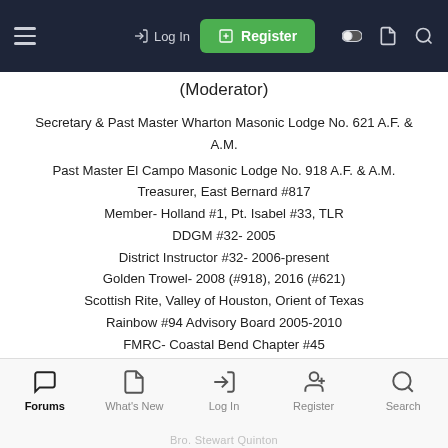Log In | Register (navigation bar)
(Moderator)
Secretary & Past Master Wharton Masonic Lodge No. 621 A.F. & A.M.
Past Master El Campo Masonic Lodge No. 918 A.F. & A.M.
Treasurer, East Bernard #817
Member- Holland #1, Pt. Isabel #33, TLR
DDGM #32- 2005
District Instructor #32- 2006-present
Golden Trowel- 2008 (#918), 2016 (#621)
Scottish Rite, Valley of Houston, Orient of Texas
Rainbow #94 Advisory Board 2005-2010
FMRC- Coastal Bend Chapter #45
Forums | What's New | Log In | Register | Search